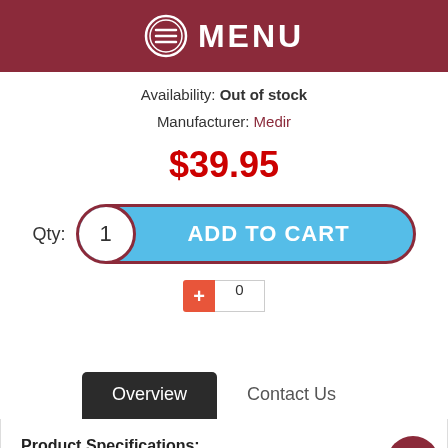MENU
Availability: Out of stock
Manufacturer: Medir
$39.95
[Figure (screenshot): Add to Cart button with quantity 1 and cyan rounded button labeled ADD TO CART]
[Figure (screenshot): Plus button (orange) and counter input showing 0]
[Figure (screenshot): Tab navigation with Overview (dark/active) and Contact Us tabs]
Product Specifications:
Medir produced gouged/profiled bassoon cane